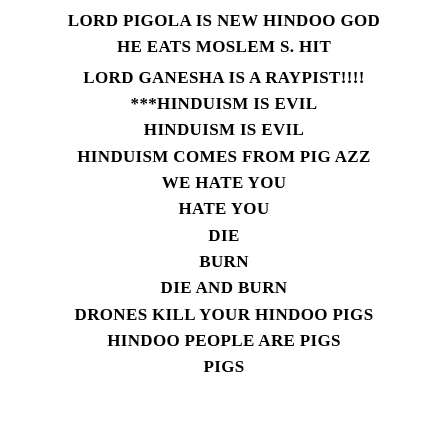LORD PIGOLA IS NEW HINDOO GOD
HE EATS MOSLEM S. HIT
LORD GANESHA IS A RAYPIST!!!!
***HINDUISM IS EVIL
HINDUISM IS EVIL
HINDUISM COMES FROM PIG AZZ
WE HATE YOU
HATE YOU
DIE
BURN
DIE AND BURN
DRONES KILL YOUR HINDOO PIGS
HINDOO PEOPLE ARE PIGS
PIGS